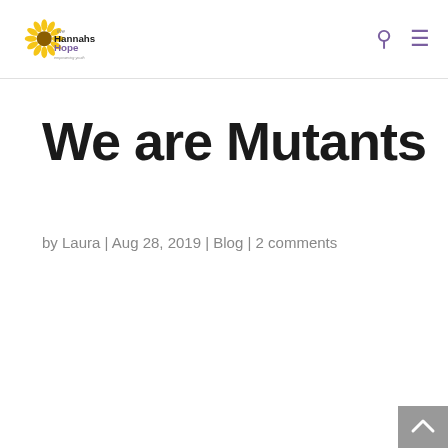HannahsHope empowering youth
We are Mutants
by Laura | Aug 28, 2019 | Blog | 2 comments